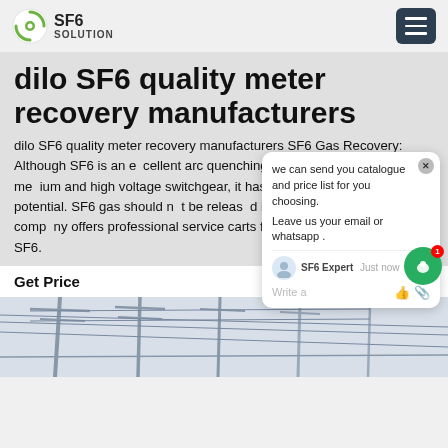SF6 Solution
dilo SF6 quality meter recovery manufacturers
dilo SF6 quality meter recovery manufacturers SF6 Gas Recovery: Although SF6 is an excellent arc quenching and insulting gas for medium and high voltage switchgear, it has a very high global warming potential. SF6 gas should not be released into the environment. our company offers professional service carts for the recovery and reuse of SF6.
Get Price
[Figure (photo): Electrical power transmission infrastructure with poles and wires against a light sky]